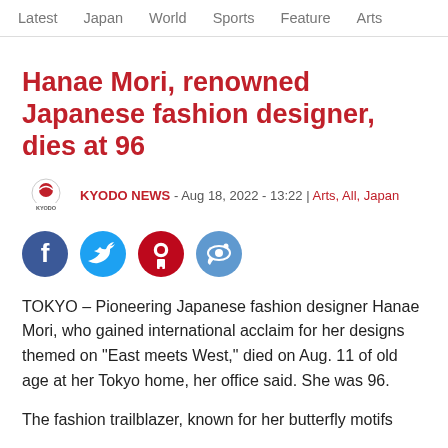Latest   Japan   World   Sports   Feature   Arts
Hanae Mori, renowned Japanese fashion designer, dies at 96
KYODO NEWS - Aug 18, 2022 - 13:22 | Arts, All, Japan
[Figure (infographic): Social media share buttons: Facebook, Twitter, Pinterest, Reddit]
TOKYO – Pioneering Japanese fashion designer Hanae Mori, who gained international acclaim for her designs themed on "East meets West," died on Aug. 11 of old age at her Tokyo home, her office said. She was 96.
The fashion trailblazer, known for her butterfly motifs